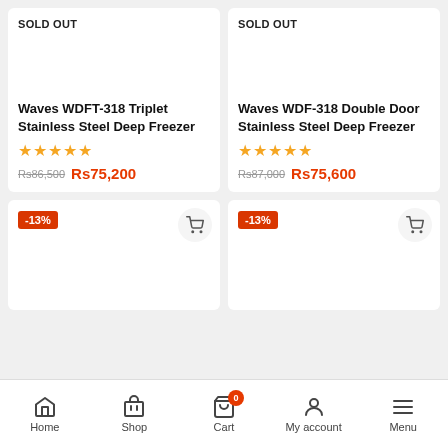SOLD OUT
Waves WDFT-318 Triplet Stainless Steel Deep Freezer
★★★★★
Rs86,500  Rs75,200
SOLD OUT
Waves WDF-318 Double Door Stainless Steel Deep Freezer
★★★★★
Rs87,000  Rs75,600
-13%
-13%
Home  Shop  Cart  My account  Menu